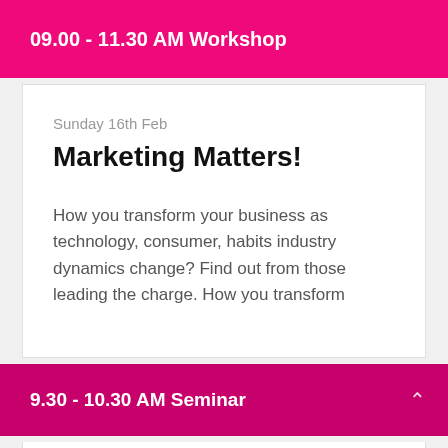09.00 - 11.30 AM Workshop
Sunday 16th Feb
Marketing Matters!
How you transform your business as technology, consumer, habits industry dynamics change? Find out from those leading the charge. How you transform
9.30 - 10.30 AM Seminar
Sunday 16th Feb